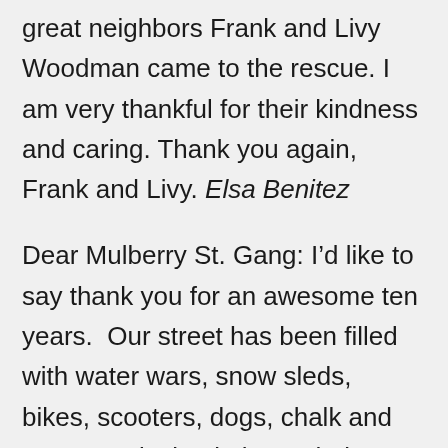great neighbors Frank and Livy Woodman came to the rescue. I am very thankful for their kindness and caring. Thank you again, Frank and Livy. Elsa Benitez
Dear Mulberry St. Gang: I’d like to say thank you for an awesome ten years.  Our street has been filled with water wars, snow sleds, bikes, scooters, dogs, chalk and parents relaxing in lawn chairs.  I can always count on my neighbors for